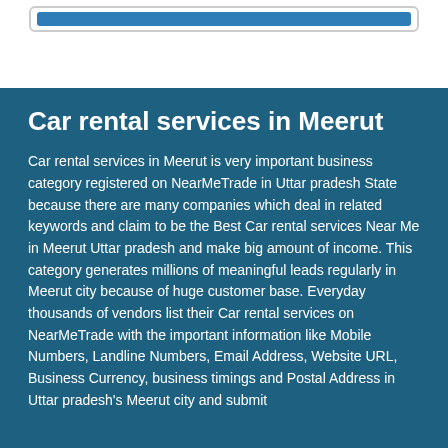[Figure (other): A card with a blue bar inside, set against a white background at the top of the page]
Car rental services in Meerut
Car rental services in Meerut is very important business category registered on NearMeTrade in Uttar pradesh State because there are many companies which deal in related keywords and claim to be the Best Car rental services Near Me in Meerut Uttar pradesh and make big amount of income. This category generates millions of meaningful leads regularly in Meerut city because of huge customer base. Everyday thousands of vendors list their Car rental services on NearMeTrade with the important information like Mobile Numbers, Landline Numbers, Email Address, Website URL, Business Currency, business timings and Postal Address in Uttar pradesh's Meerut city and submit one of their registration to be shown on /NMTrade